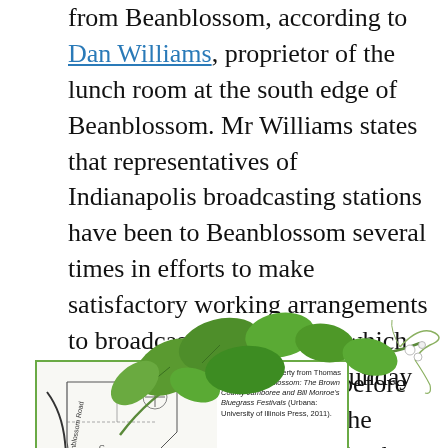from Beanblossom, according to Dan Williams, proprietor of the lunch room at the south edge of Beanblossom. Mr Williams states that representatives of Indianapolis broadcasting stations have been to Beanblossom several times in efforts to make satisfactory working arrangements to broadcast the programs which are being held there each Sunday night.
[Figure (illustration): Botanical illustration of green leafy vine/bean plant with white flowers, overlapping a map box]
[Figure (map): Map of Runci property from Thomas A. Adler, Bean Blossom: The Brown County Jamboree and Bill Monroe's Bluegrass Festivals (Urbana: University of Illinois Press, 2011). Shows property layout with compass rose and labeled points A, B, C, D.]
Map of Runci property from Thomas A. Adler, Bean Blossom: The Brown County Jamboree and Bill Monroe's Bluegrass Festivals (Urbana: University of Illinois Press, 2011).
Just before the Jamboree launched, locals